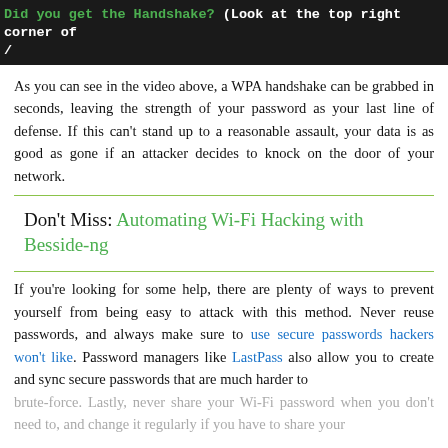Did you get the Handshake? (Look at the top right corner of /
As you can see in the video above, a WPA handshake can be grabbed in seconds, leaving the strength of your password as your last line of defense. If this can't stand up to a reasonable assault, your data is as good as gone if an attacker decides to knock on the door of your network.
Don't Miss: Automating Wi-Fi Hacking with Besside-ng
If you're looking for some help, there are plenty of ways to prevent yourself from being easy to attack with this method. Never reuse passwords, and always make sure to use secure passwords hackers won't like. Password managers like LastPass also allow you to create and sync secure passwords that are much harder to brute-force. Lastly, never share your Wi-Fi password when you don't need to, and change it regularly if you have to share your